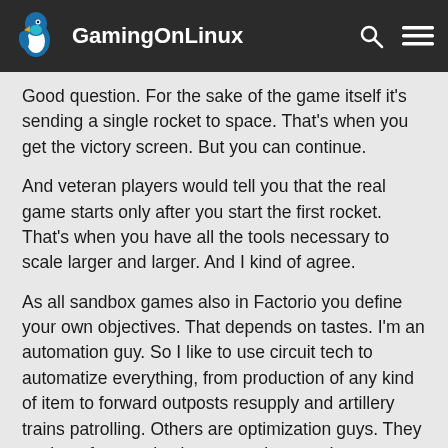GamingOnLinux
Good question. For the sake of the game itself it's sending a single rocket to space. That's when you get the victory screen. But you can continue.
And veteran players would tell you that the real game starts only after you start the first rocket. That's when you have all the tools necessary to scale larger and larger. And I kind of agree.
As all sandbox games also in Factorio you define your own objectives. That depends on tastes. I'm an automation guy. So I like to use circuit tech to automatize everything, from production of any kind of item to forward outposts resupply and artillery trains patrolling. Others are optimization guys. They seek perfect production proportions so that every production line consumes exactly what the previous